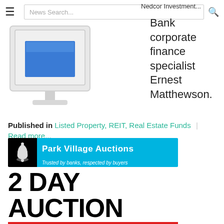≡  [News Search...]  Nedcor Investment...  🔍
[Figure (screenshot): Screenshot of a computer monitor icon showing a blue screen, representing a digital/web page image]
Bank corporate finance specialist Ernest Matthewson.
Published in  Listed Property, REIT, Real Estate Funds  |  Read more...
[Figure (logo): Park Village Auctions banner logo with bell icon, blue background, tagline 'Trusted by banks, respected by buyers', and '2 DAY AUCTION' text below]